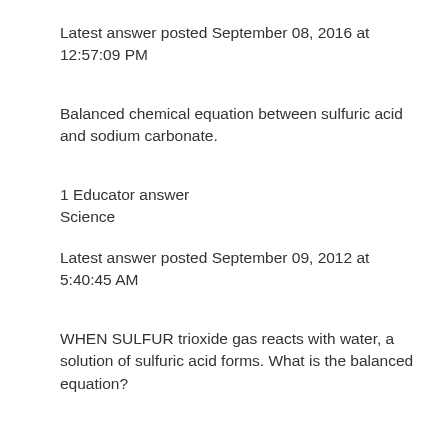Latest answer posted September 08, 2016 at 12:57:09 PM
Balanced chemical equation between sulfuric acid and sodium carbonate.
1 Educator answer
Science
Latest answer posted September 09, 2012 at 5:40:45 AM
WHEN SULFUR trioxide gas reacts with water, a solution of sulfuric acid forms. What is the balanced equation?